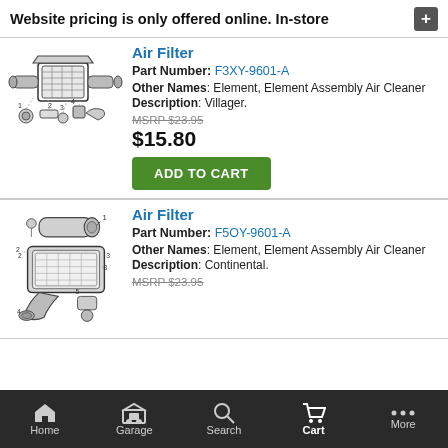Website pricing is only offered online. In-store
Air Filter
Part Number: F3XY-9601-A
Other Names: Element, Element Assembly Air Cleaner
Description: Villager.
MSRP $23.95
$15.80
[Figure (illustration): Air filter assembly exploded diagram showing components]
Air Filter
Part Number: F5OY-9601-A
Other Names: Element, Element Assembly Air Cleaner
Description: Continental.
MSRP $23.95
[Figure (illustration): Air filter assembly exploded diagram showing components]
Home  Garage  Search  Cart  More